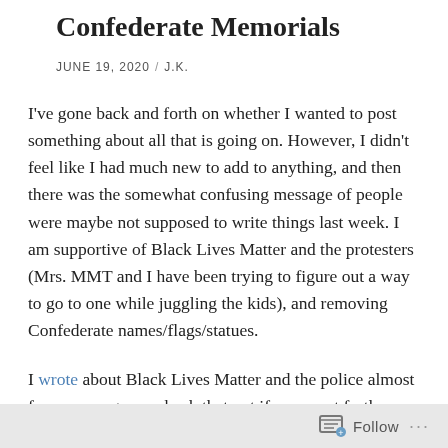Confederate Memorials
JUNE 19, 2020  /  J.K.
I've gone back and forth on whether I wanted to post something about all that is going on. However, I didn't feel like I had much new to add to anything, and then there was the somewhat confusing message of people were maybe not supposed to write things last week. I am supportive of Black Lives Matter and the protesters (Mrs. MMT and I have been trying to figure out a way to go to one while juggling the kids), and removing Confederate names/flags/statues.
I wrote about Black Lives Matter and the police almost four years ago, so check that out if you want further thoughts from me. I also wrote about removing the